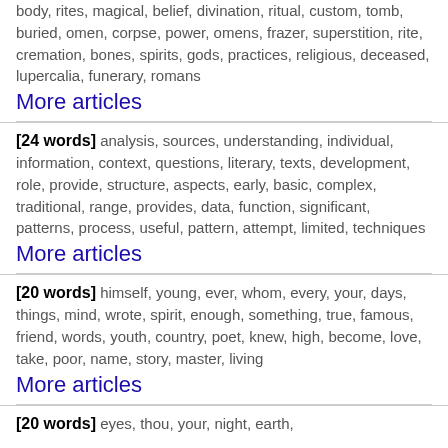body, rites, magical, belief, divination, ritual, custom, tomb, buried, omen, corpse, power, omens, frazer, superstition, rite, cremation, bones, spirits, gods, practices, religious, deceased, lupercalia, funerary, romans
More articles
[24 words] analysis, sources, understanding, individual, information, context, questions, literary, texts, development, role, provide, structure, aspects, early, basic, complex, traditional, range, provides, data, function, significant, patterns, process, useful, pattern, attempt, limited, techniques
More articles
[20 words] himself, young, ever, whom, every, your, days, things, mind, wrote, spirit, enough, something, true, famous, friend, words, youth, country, poet, knew, high, become, love, take, poor, name, story, master, living
More articles
[20 words] eyes, thou, your, night, earth,